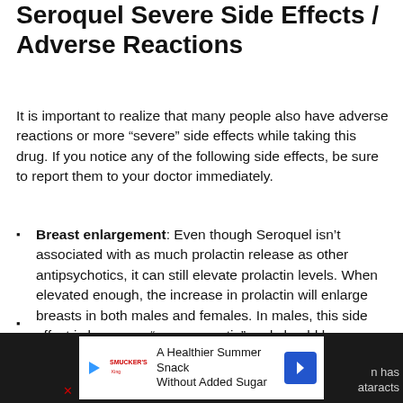Seroquel Severe Side Effects / Adverse Reactions
It is important to realize that many people also have adverse reactions or more “severe” side effects while taking this drug. If you notice any of the following side effects, be sure to report them to your doctor immediately.
Breast enlargement: Even though Seroquel isn’t associated with as much prolactin release as other antipsychotics, it can still elevate prolactin levels. When elevated enough, the increase in prolactin will enlarge breasts in both males and females. In males, this side effect is known as “gynecomastia” and should be reported immediately.
[partial, cut off] ...n has ...ataracts
[Figure (other): Advertisement banner: A Healthier Summer Snack Without Added Sugar, with Smucker's logo and navigation arrow icon]